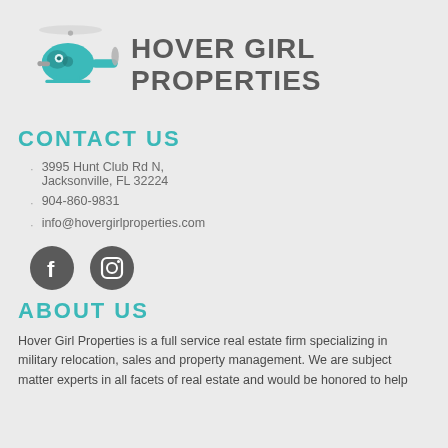[Figure (logo): Hover Girl Properties helicopter logo with teal helicopter illustration]
HOVER GIRL PROPERTIES
CONTACT US
3995 Hunt Club Rd N, Jacksonville, FL 32224
904-860-9831
info@hovergirlproperties.com
[Figure (other): Facebook and Instagram social media icons (dark grey circles)]
ABOUT US
Hover Girl Properties is a full service real estate firm specializing in military relocation, sales and property management. We are subject matter experts in all facets of real estate and would be honored to help